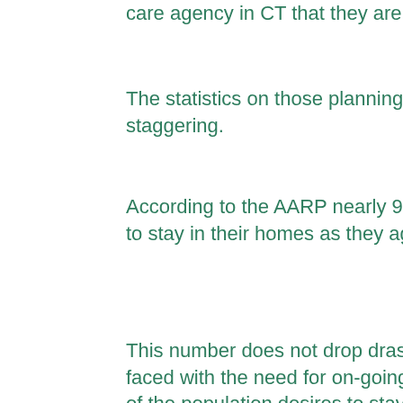care agency in CT that they are comfortable with.
The statistics on those planning on aging in place are staggering.
According to the AARP nearly 90% of all seniors wish to stay in their homes as they age.
This number does not drop drastically even when faced with the need for on-going health care, still 82% of the population desires to stay in their home as they age.
Why are so many seniors choosing the option of living in their own home as they age? For a large percentage of those who have decided that that's how they want to live out their final days the answer is simple, they want to live under their own rules as they age. Nearly 45% of all seniors who are determined to